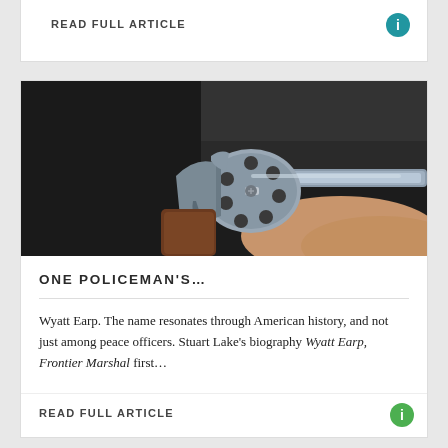READ FULL ARTICLE
[Figure (photo): Close-up photograph of a chrome/silver revolver handgun being held, showing the cylinder, barrel, hammer, trigger guard, and wooden grip against a dark background.]
ONE POLICEMAN'S…
Wyatt Earp. The name resonates through American history, and not just among peace officers. Stuart Lake's biography Wyatt Earp, Frontier Marshal first…
READ FULL ARTICLE